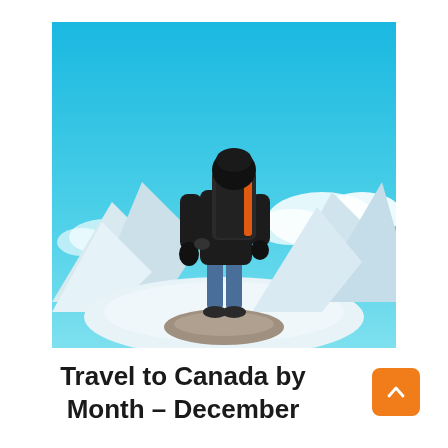[Figure (photo): A hiker with a large backpack standing on a snowy mountain peak, viewed from behind, against a vivid turquoise-blue sky with white clouds and snow-capped mountains in the background.]
Travel to Canada by Month – December